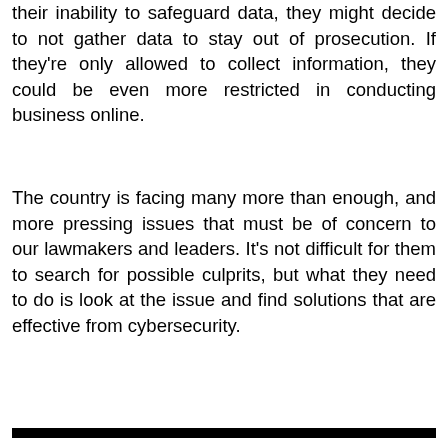their inability to safeguard data, they might decide to not gather data to stay out of prosecution. If they're only allowed to collect information, they could be even more restricted in conducting business online.
The country is facing many more than enough, and more pressing issues that must be of concern to our lawmakers and leaders. It's not difficult for them to search for possible culprits, but what they need to do is look at the issue and find solutions that are effective from cybersecurity.